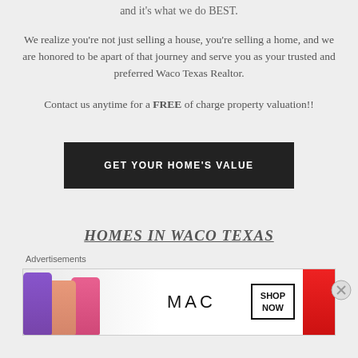and it's what we do BEST.
We realize you're not just selling a house, you're selling a home, and we are honored to be apart of that journey and serve you as your trusted and preferred Waco Texas Realtor.
Contact us anytime for a FREE of charge property valuation!!
[Figure (other): Dark button with text GET YOUR HOME'S VALUE]
HOMES IN WACO TEXAS
Advertisements
[Figure (photo): MAC Cosmetics advertisement banner with lipsticks and Shop Now button]